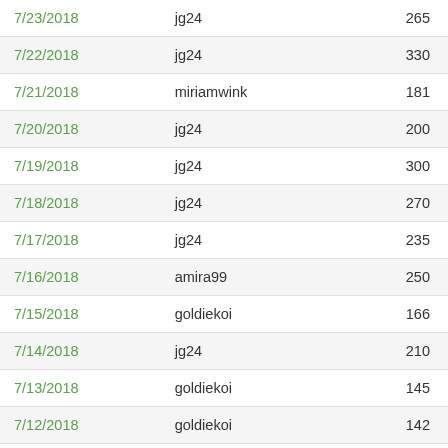| Date | User | Count |
| --- | --- | --- |
| 7/23/2018 | jg24 | 265 |
| 7/22/2018 | jg24 | 330 |
| 7/21/2018 | miriamwink | 181 |
| 7/20/2018 | jg24 | 200 |
| 7/19/2018 | jg24 | 300 |
| 7/18/2018 | jg24 | 270 |
| 7/17/2018 | jg24 | 235 |
| 7/16/2018 | amira99 | 250 |
| 7/15/2018 | goldiekoi | 166 |
| 7/14/2018 | jg24 | 210 |
| 7/13/2018 | goldiekoi | 145 |
| 7/12/2018 | goldiekoi | 142 |
| 7/11/2018 | goldiekoi | 151 |